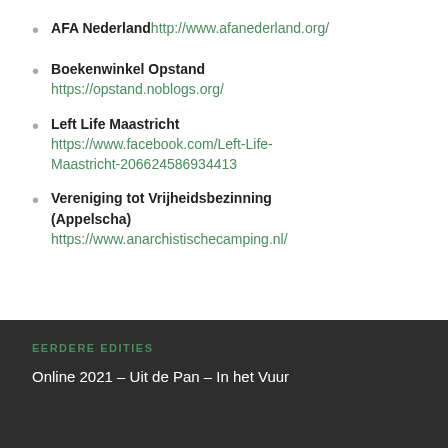AFA Nederland http://www.afanederland.org/
Boekenwinkel Opstand https://opstand.noblogs.org/
Left Life Maastricht https://www.facebook.com/Left-Life-Maastricht-206624586934413
Vereniging tot Vrijheidsbezinning (Appelscha) https://www.anarchistischecamping.nl/
EERDERE EDITIES
Online 2021 – Uit de Pan – In het Vuur